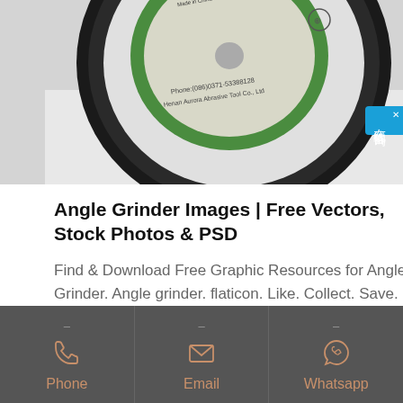[Figure (photo): Close-up photo of a circular abrasive grinding disc (angle grinder disc) showing the green and black label with text including 'Phone:(086)0371-53388128' and 'Henan Aurora Abrasive Tool Co., Ltd', photographed on a white/light grey background]
Angle Grinder Images | Free Vectors, Stock Photos & PSD
Find & Download Free Graphic Resources for Angle Grinder. Angle grinder. flaticon. Like. Collect. Save. Angle grinder. Save. Unused abrasive flap disc for grinding in worker hand in black protective glove isolated on white.
Phone | Email | Whatsapp